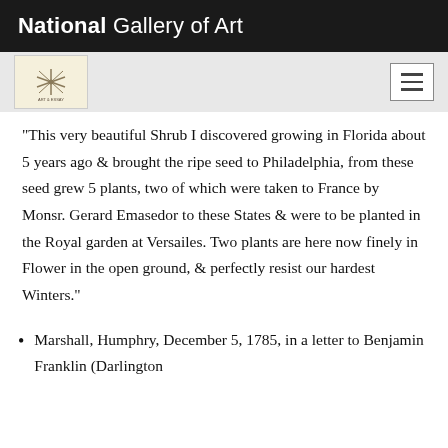National Gallery of Art
[Figure (logo): Art & / logo small square icon with snowflake/asterisk design on cream background]
[Figure (other): Hamburger menu button (three horizontal lines) in a rectangular border]
"This very beautiful Shrub I discovered growing in Florida about 5 years ago & brought the ripe seed to Philadelphia, from these seed grew 5 plants, two of which were taken to France by Monsr. Gerard Emasedor to these States & were to be planted in the Royal garden at Versailes. Two plants are here now finely in Flower in the open ground, & perfectly resist our hardest Winters."
Marshall, Humphry, December 5, 1785, in a letter to Benjamin Franklin (Darlington